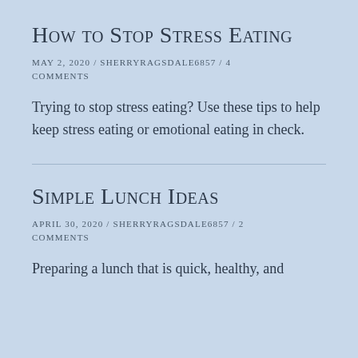How to Stop Stress Eating
MAY 2, 2020 / SHERRYRAGSDALE6857 / 4 COMMENTS
Trying to stop stress eating? Use these tips to help keep stress eating or emotional eating in check.
Simple Lunch Ideas
APRIL 30, 2020 / SHERRYRAGSDALE6857 / 2 COMMENTS
Preparing a lunch that is quick, healthy, and